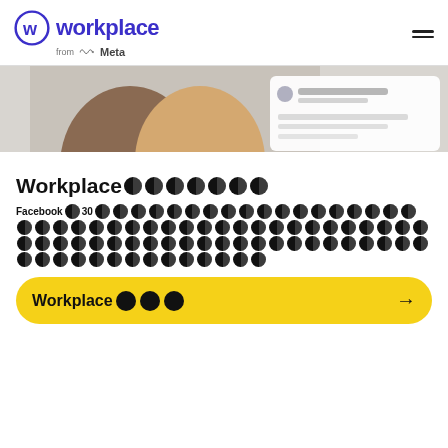Workplace from Meta
[Figure (photo): Hero image showing two smiling women (one wearing a hijab, one in a yellow top) with a UI overlay showing company messages]
Workplace [redacted]
Facebook [redacted] 30 [redacted text block]
Workplace [redacted] →